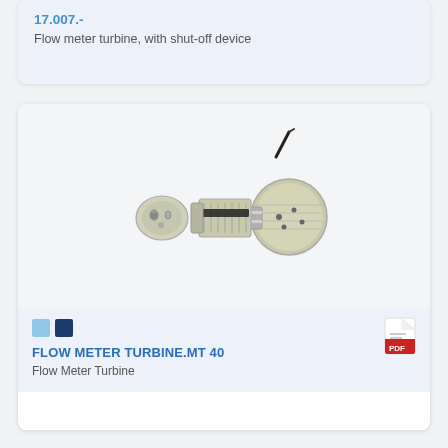17.007.-
Flow meter turbine, with shut-off device
[Figure (photo): Flow meter turbine component - disassembled view showing threaded body, coupling ring, and sensor head with wire]
FLOW METER TURBINE.MT 40
Flow Meter Turbine